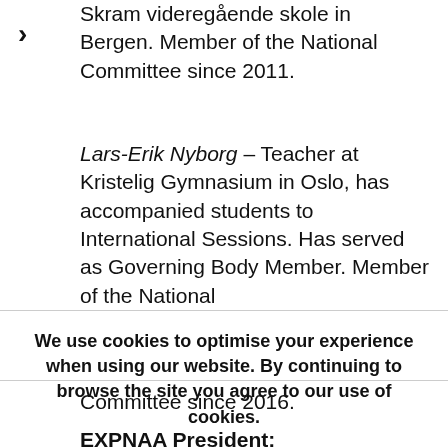Skram videregående skole in Bergen. Member of the National Committee since 2011.
Lars-Erik Nyborg – Teacher at Kristelig Gymnasium in Oslo, has accompanied students to International Sessions. Has served as Governing Body Member. Member of the National
We use cookies to optimise your experience when using our website. By continuing to browse the site you agree to our use of cookies.
Committee since 2016.
EXPNAA President: